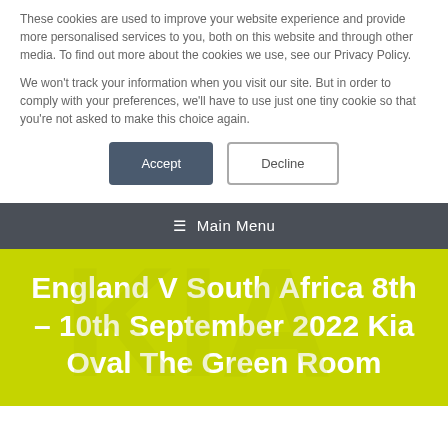These cookies are used to improve your website experience and provide more personalised services to you, both on this website and through other media. To find out more about the cookies we use, see our Privacy Policy.
We won't track your information when you visit our site. But in order to comply with your preferences, we'll have to use just one tiny cookie so that you're not asked to make this choice again.
Accept | Decline
≡ Main Menu
England V South Africa 8th – 10th September 2022 Kia Oval The Green Room